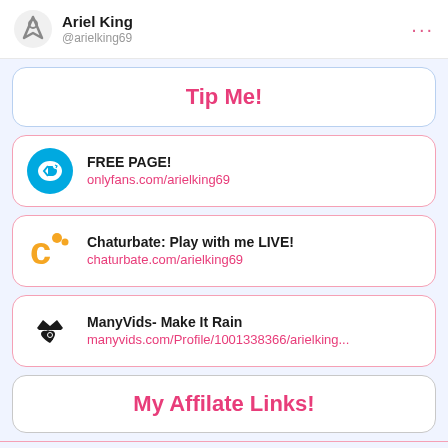Ariel King @arielking69
Tip Me!
FREE PAGE! onlyfans.com/arielking69
Chaturbate: Play with me LIVE! chaturbate.com/arielking69
ManyVids- Make It Rain manyvids.com/Profile/1001338366/arielking...
My Affilate Links!